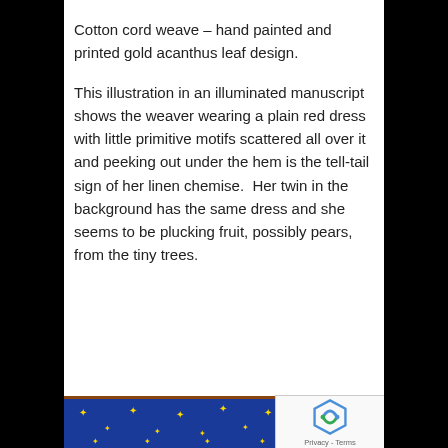Cotton cord weave – hand painted and printed gold acanthus leaf design.
This illustration in an illuminated manuscript shows the weaver wearing a plain red dress with little primitive motifs scattered all over it and peeking out under the hem is the tell-tail sign of her linen chemise.  Her twin in the background has the same dress and she seems to be plucking fruit, possibly pears, from the tiny trees.
[Figure (illustration): Bottom portion of an illuminated manuscript image showing a dark blue background with gold star motifs, partially visible at the bottom of the page.]